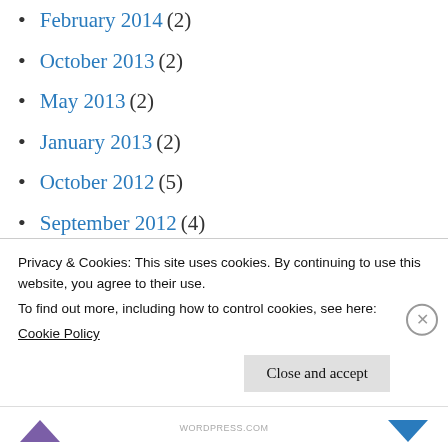February 2014 (2)
October 2013 (2)
May 2013 (2)
January 2013 (2)
October 2012 (5)
September 2012 (4)
August 2012 (1)
July 2011 (2)
June 2011 (1)
January 2011 (1)
December 2010 (1)
Privacy & Cookies: This site uses cookies. By continuing to use this website, you agree to their use.
To find out more, including how to control cookies, see here:
Cookie Policy
Close and accept
WORDPRESS.COM